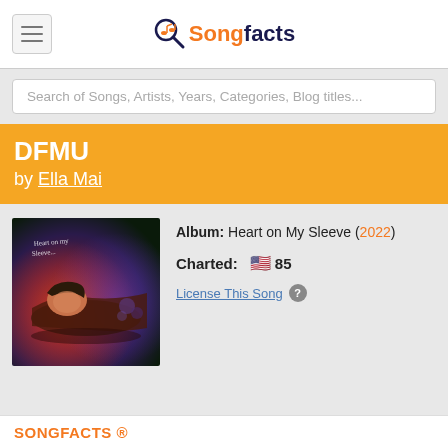Songfacts
Search of Songs, Artists, Years, Categories, Blog titles...
DFMU
by Ella Mai
[Figure (photo): Album cover for Heart on My Sleeve by Ella Mai - woman lying down with dramatic red/purple lighting]
Album: Heart on My Sleeve (2022)
Charted: 🇺🇸 85
License This Song ?
SONGFACTS ®